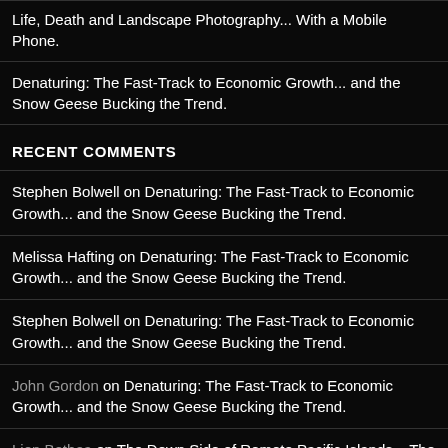Life, Death and Landscape Photography... With a Mobile Phone.
Denaturing: The Fast-Track to Economic Growth... and the Snow Geese Bucking the Trend.
RECENT COMMENTS
Stephen Bolwell on Denaturing: The Fast-Track to Economic Growth... and the Snow Geese Bucking the Trend.
Melissa Hafting on Denaturing: The Fast-Track to Economic Growth... and the Snow Geese Bucking the Trend.
Stephen Bolwell on Denaturing: The Fast-Track to Economic Growth... and the Snow Geese Bucking the Trend.
John Gordon on Denaturing: The Fast-Track to Economic Growth... and the Snow Geese Bucking the Trend.
Lien Bethea on The Down Side of Remote Pacific Islands – The Disappointing Spring of New Zealand...